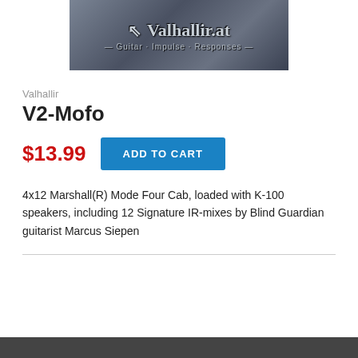[Figure (logo): Valhallir.at Guitar Impulse Responses logo on metallic background]
Valhallir
V2-Mofo
$13.99
ADD TO CART
4x12 Marshall(R) Mode Four Cab, loaded with K-100 speakers, including 12 Signature IR-mixes by Blind Guardian guitarist Marcus Siepen